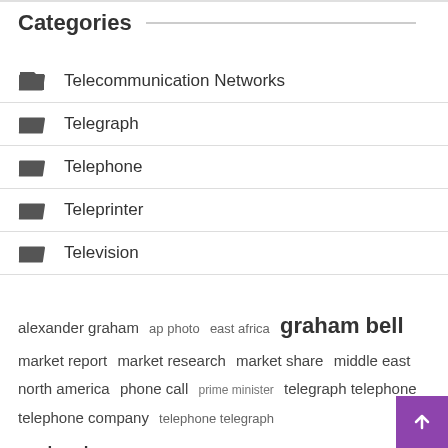Categories
Telecommunication Networks
Telegraph
Telephone
Teleprinter
Television
alexander graham  ap photo  east africa  graham bell  market report  market research  market share  middle east  north america  phone call  prime minister  telegraph telephone  telephone company  telephone telegraph  united states